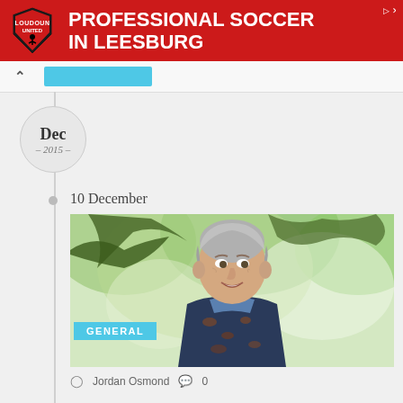[Figure (infographic): Red advertisement banner for Loudoun Soccer with shield logo and text 'PROFESSIONAL SOCCER IN LEESBURG']
Dec
- 2015 -
10 December
[Figure (photo): Older man with grey hair smiling outdoors with green trees in background, wearing a dark floral/patterned shirt and blue shirt]
GENERAL
Jordan Osmond  0